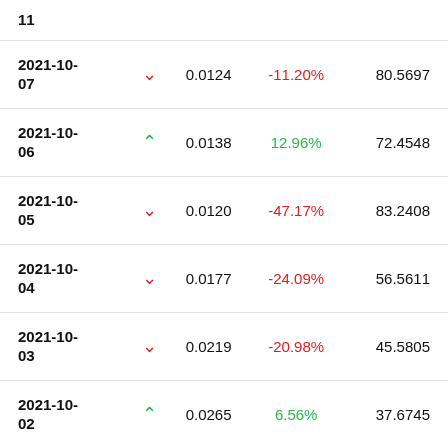| Date | Direction | Value | Change % | Score |
| --- | --- | --- | --- | --- |
| 11 |  |  |  |  |
| 2021-10-07 | down | 0.0124 | -11.20% | 80.5697 |
| 2021-10-06 | up | 0.0138 | 12.96% | 72.4548 |
| 2021-10-05 | down | 0.0120 | -47.17% | 83.2408 |
| 2021-10-04 | down | 0.0177 | -24.09% | 56.5611 |
| 2021-10-03 | down | 0.0219 | -20.98% | 45.5805 |
| 2021-10-02 | up | 0.0265 | 6.56% | 37.6745 |